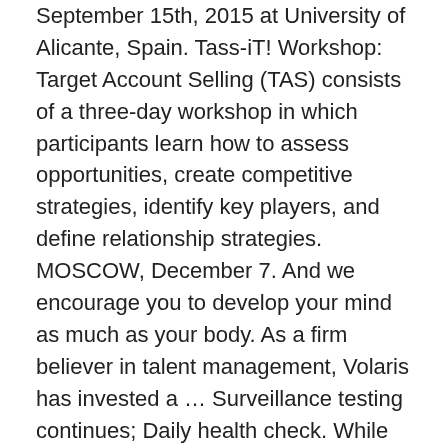September 15th, 2015 at University of Alicante, Spain. Tass-iT! Workshop: Target Account Selling (TAS) consists of a three-day workshop in which participants learn how to assess opportunities, create competitive strategies, identify key players, and define relationship strategies. MOSCOW, December 7. And we encourage you to develop your mind as much as your body. As a firm believer in talent management, Volaris has invested a ... Surveillance testing continues; Daily health check. While TASS has a broad and comprehensive product offering, we also understand that schools sometimes engage other education technology providers for different products. At its best, sport is about the honorable pursuit of victory. A fresh way of analysing security information is being developed with the help of Heathrow Airport. Carl Jones, TASS Dual Career Coordinator, added: “We are delighted to hear of Cameron’s success with the Sunderland City Dive Team, which is an outstanding achievement “To perform to that level and then be recognised as the diver of the year is a tremendous accolade and he should be extremely proud. Tass